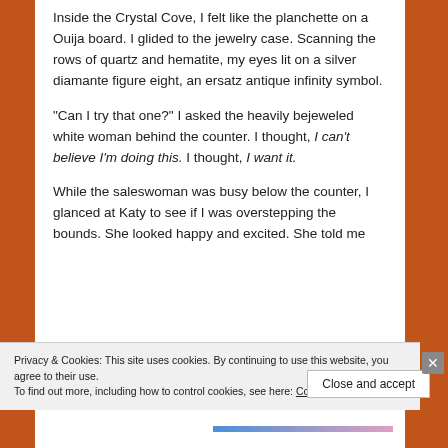Inside the Crystal Cove, I felt like the planchette on a Ouija board. I glided to the jewelry case. Scanning the rows of quartz and hematite, my eyes lit on a silver diamante figure eight, an ersatz antique infinity symbol.
“Can I try that one?” I asked the heavily bejeweled white woman behind the counter. I thought, I can’t believe I’m doing this. I thought, I want it.
While the saleswoman was busy below the counter, I glanced at Katy to see if I was overstepping the bounds. She looked happy and excited. She told me
Privacy & Cookies: This site uses cookies. By continuing to use this website, you agree to their use.
To find out more, including how to control cookies, see here: Cookie Policy
Close and accept